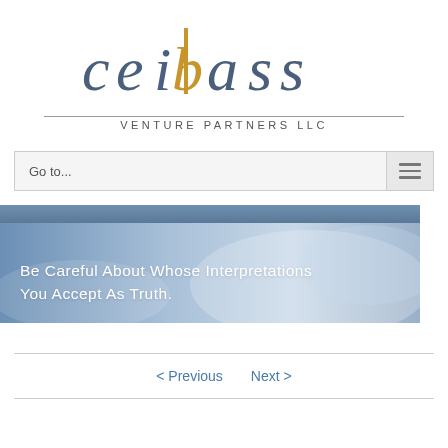[Figure (logo): Ceibass Venture Partners LLC logo — stylized text 'ceibass' with 'b' taller, letters in grey-blue and gold/orange tones, with horizontal rule beneath and 'VENTURE PARTNERS LLC' in spaced caps below]
Go to...
[Figure (photo): Hero banner with soft blue sky/cloud background and white bold text reading: Be Careful About Whose Interpretations You Accept As Truth.]
< Previous   Next >